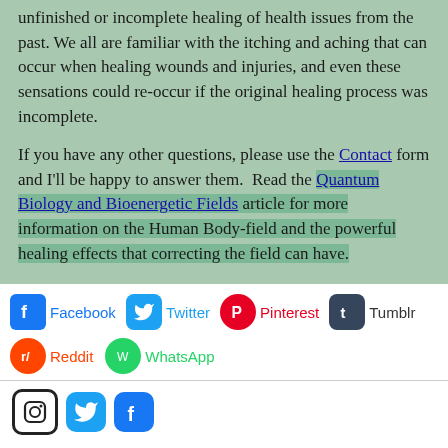unfinished or incomplete healing of health issues from the past. We all are familiar with the itching and aching that can occur when healing wounds and injuries, and even these sensations could re-occur if the original healing process was incomplete.
If you have any other questions, please use the Contact form and I'll be happy to answer them. Read the Quantum Biology and Bioenergetic Fields article for more information on the Human Body-field and the powerful healing effects that correcting the field can have.
[Figure (infographic): Social sharing buttons: Facebook (blue icon), Twitter (blue bird icon), Pinterest (red P icon), Tumblr (dark blue t icon), Reddit (orange alien icon), WhatsApp (green icon)]
[Figure (infographic): Bottom social icons row: Instagram (black outline circle camera icon), Twitter (blue bird square), Facebook (blue F square)]